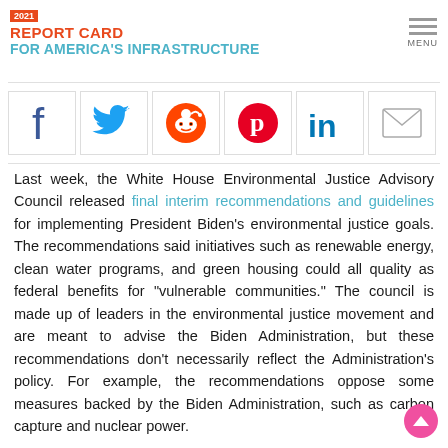2021 REPORT CARD FOR AMERICA'S INFRASTRUCTURE
[Figure (infographic): Social media share icons: Facebook, Twitter, Reddit, Pinterest, LinkedIn, Email]
Last week, the White House Environmental Justice Advisory Council released final interim recommendations and guidelines for implementing President Biden's environmental justice goals. The recommendations said initiatives such as renewable energy, clean water programs, and green housing could all quality as federal benefits for "vulnerable communities." The council is made up of leaders in the environmental justice movement and are meant to advise the Biden Administration, but these recommendations don't necessarily reflect the Administration's policy. For example, the recommendations oppose some measures backed by the Biden Administration, such as carbon capture and nuclear power.
In particular, the recommendation includes establishing a